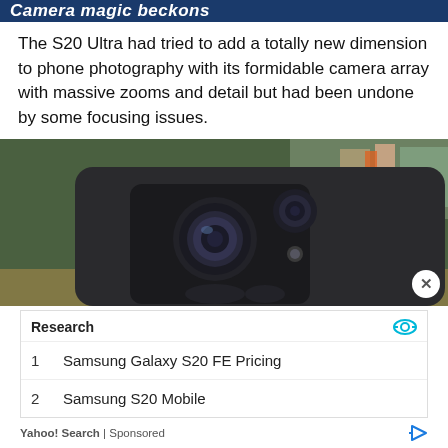Camera magic beckons
The S20 Ultra had tried to add a totally new dimension to phone photography with its formidable camera array with massive zooms and detail but had been undone by some focusing issues.
[Figure (photo): Close-up photograph of the back of a Samsung Galaxy S20 smartphone showing its camera array (multiple lenses and sensors) against a blurred background with green, orange, and beige tones.]
|  | Research |
| --- | --- |
| 1 | Samsung Galaxy S20 FE Pricing |
| 2 | Samsung S20 Mobile |
Yahoo! Search | Sponsored